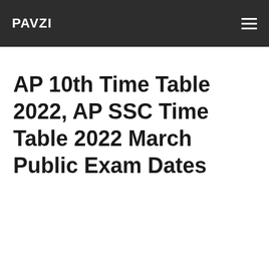PAVZI
AP 10th Time Table 2022, AP SSC Time Table 2022 March Public Exam Dates